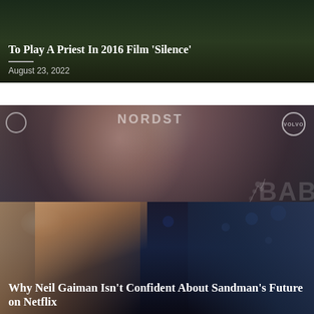[Figure (photo): Dark background photo card (partially visible at top) - article about playing a priest in 2016 film Silence]
To Play A Priest In 2016 Film 'Silence'
August 23, 2022
[Figure (photo): Photo of Rachel Bilson in black off-shoulder dress at event with Nordstrom and Volvo logos in background]
The O.C.'s Rachel Bilson Has Sweet Reaction to Cooper Family Reunion
August 23, 2022
[Figure (photo): Dark nighttime photo with bokeh lights, showing figures in foreground - article about Neil Gaiman and Sandman on Netflix]
Why Neil Gaiman Isn't Confident About Sandman's Future on Netflix